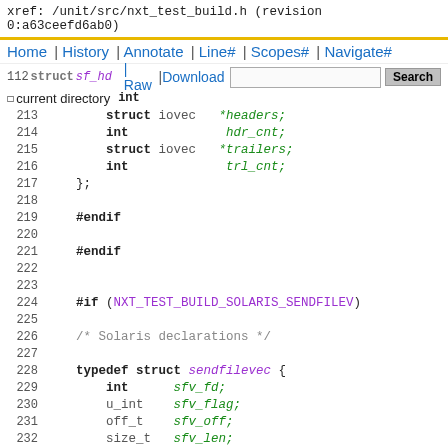xref: /unit/src/nxt_test_build.h (revision 0:a63ceefd6ab0)
Home | History | Annotate | Line# | Scopes# | Navigate#
| Raw | Download   [search box]  Search
| current directory
212  struct sf_hd
213         struct iovec   *headers;
214         int            hdr_cnt;
215         struct iovec   *trailers;
216         int            trl_cnt;
217     };
218
219     #endif
220
221     #endif
222
223
224     #if (NXT_TEST_BUILD_SOLARIS_SENDFILEV)
225
226     /* Solaris declarations */
227
228     typedef struct sendfilevec {
229         int      sfv_fd;
230         u_int    sfv_flag;
231         off_t    sfv_off;
232         size_t   sfv_len;
233     } sendfilevec_t;
234
235     #define SFV_FD_SELF  -2
236